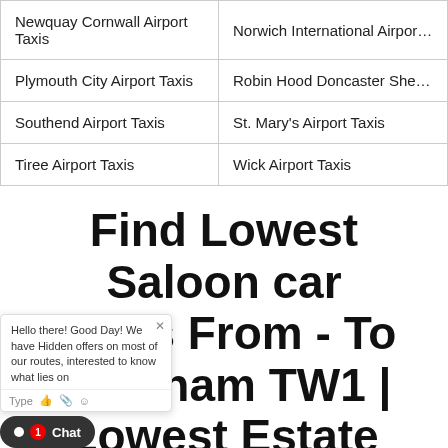| Newquay Cornwall Airport Taxis | Norwich International Airport Taxis |
| Plymouth City Airport Taxis | Robin Hood Doncaster Sheffield Air... |
| Southend Airport Taxis | St. Mary’s Airport Taxis |
| Tiree Airport Taxis | Wick Airport Taxis |
Find Lowest Saloon car Cab's From - Twickenham TW1 | Lowest Estate Price Cab's From - To Twickenham TW1
[Figure (screenshot): Chat widget overlay showing 'Hello there! Good Day! We have Hidden offers on most of our routes, interested to know what lies on...' with a close button, type field, and emoji/attachment icons]
[Figure (screenshot): Dark chat button at bottom left showing a speech bubble icon, 'Chat' label, and a red badge with the number 1]